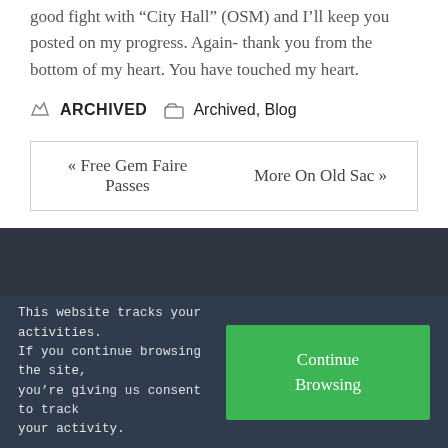good fight with “City Hall” (OSM) and I’ll keep you posted on my progress. Again- thank you from the bottom of my heart. You have touched my heart.
ARCHIVED   Archived, Blog
« Free Gem Faire Passes   More On Old Sac »
This website tracks your activities. If you continue browsing the site, you’re giving us consent to track your activity.
Continue Browsing